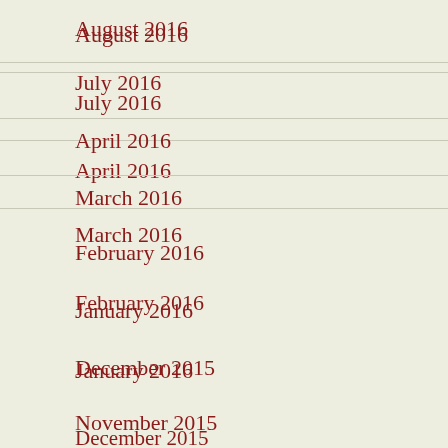August 2016
July 2016
April 2016
March 2016
February 2016
January 2016
December 2015
November 2015